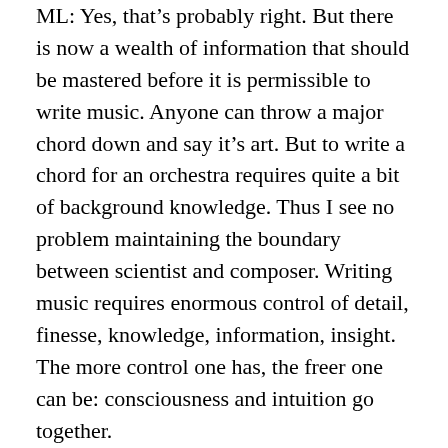ML: Yes, that's probably right. But there is now a wealth of information that should be mastered before it is permissible to write music. Anyone can throw a major chord down and say it's art. But to write a chord for an orchestra requires quite a bit of background knowledge. Thus I see no problem maintaining the boundary between scientist and composer. Writing music requires enormous control of detail, finesse, knowledge, information, insight. The more control one has, the freer one can be: consciousness and intuition go together.
AB: That you as composer should be constantly in line with technical developments makes me think of Rimbaud's 'Il faut être absolutement moderne', or, Habermas' belief that being modern is an incomplete project. Does it seem to you that your music is a continuation of that idea?
ML: That is a good analysis. As professional